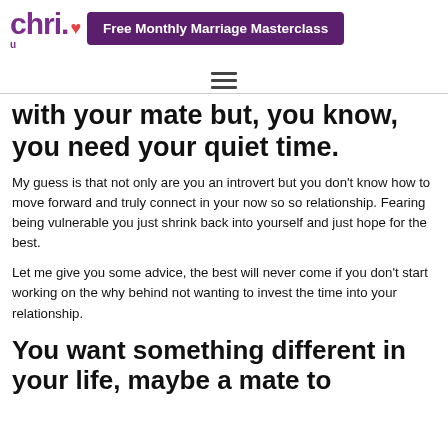chr... Free Monthly Marriage Masterclass
with your mate but, you know, you need your quiet time.
My guess is that not only are you an introvert but you don't know how to move forward and truly connect in your now so so relationship. Fearing being vulnerable you just shrink back into yourself and just hope for the best.
Let me give you some advice, the best will never come if you don't start working on the why behind not wanting to invest the time into your relationship.
You want something different in your life, maybe a mate to